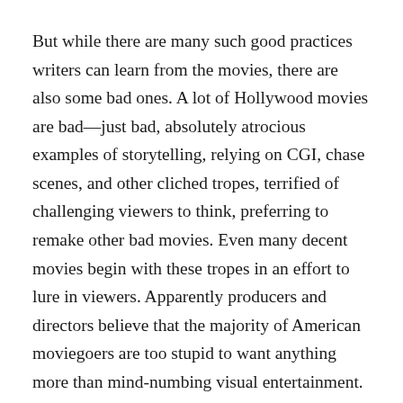But while there are many such good practices writers can learn from the movies, there are also some bad ones. A lot of Hollywood movies are bad—just bad, absolutely atrocious examples of storytelling, relying on CGI, chase scenes, and other cliched tropes, terrified of challenging viewers to think, preferring to remake other bad movies. Even many decent movies begin with these tropes in an effort to lure in viewers. Apparently producers and directors believe that the majority of American moviegoers are too stupid to want anything more than mind-numbing visual entertainment. (That certainly seems to be where the money is.) And I'm not even talking about the parade of cartoons or cartoonish CGI flicks that are clearly designed for 12-year-old boys. Typical Hollywood opening #1: A group of people are gathered at someone's memorial as a eulogy begins. Flashback to how we got there. (Alias: Unearned appeal to sentimentality.) Typical Hollywood opening #2: Someone is chasing someone else